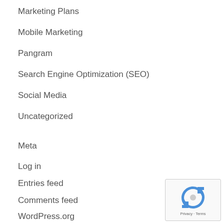Marketing Plans
Mobile Marketing
Pangram
Search Engine Optimization (SEO)
Social Media
Uncategorized
Meta
Log in
Entries feed
Comments feed
WordPress.org
[Figure (logo): Google reCAPTCHA badge with Privacy and Terms links]